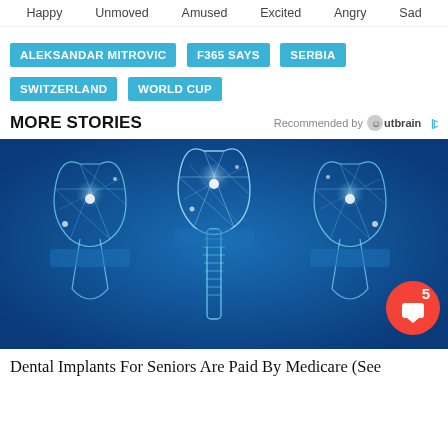Happy  Unmoved  Amused  Excited  Angry  Sad
ALEKSANDAR MITROVIC
F365 SAYS
SERBIA
SWITZERLAND
WORLD CUP
MORE STORIES
Recommended by Outbrain
[Figure (illustration): Three wireframe/mesh dental implants on blue background — futuristic glowing teeth illustration]
Dental Implants For Seniors Are Paid By Medicare (See